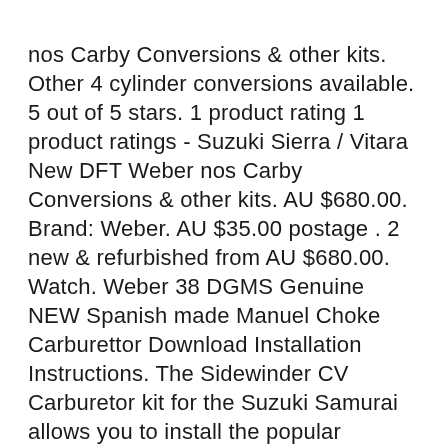nos Carby Conversions & other kits. Other 4 cylinder conversions available. 5 out of 5 stars. 1 product rating 1 product ratings - Suzuki Sierra / Vitara New DFT Weber nos Carby Conversions & other kits. AU $680.00. Brand: Weber. AU $35.00 postage . 2 new & refurbished from AU $680.00. Watch. Weber 38 DGMS Genuine NEW Spanish made Manuel Choke Carburettor Download Installation Instructions. The Sidewinder CV Carburetor kit for the Suzuki Samurai allows you to install the popular KeihinB® 40mm CV (constant velocity) or the Screaming Eagle 44mm side draft carburetor on your stock or modified off-road vehicle.